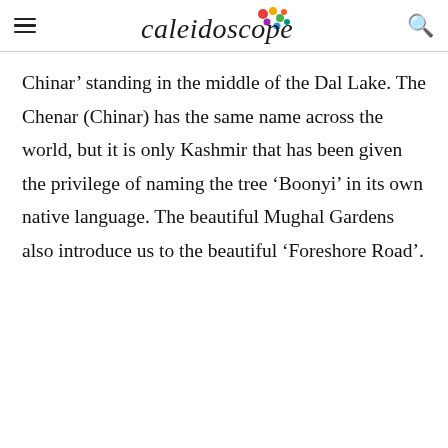Caleidoscope
Chinar’ standing in the middle of the Dal Lake. The Chenar (Chinar) has the same name across the world, but it is only Kashmir that has been given the privilege of naming the tree ‘Boonyi’ in its own native language. The beautiful Mughal Gardens also introduce us to the beautiful ‘Foreshore Road’.